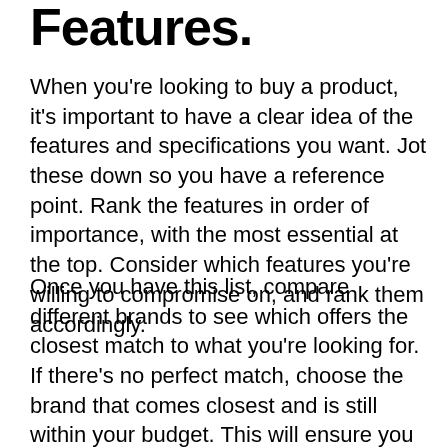Features.
When you're looking to buy a product, it's important to have a clear idea of the features and specifications you want. Jot these down so you have a reference point. Rank the features in order of importance, with the most essential at the top. Consider which features you're willing to compromise on, and rank them accordingly.
Once you have this list, compare different brands to see which offers the closest match to what you're looking for. If there's no perfect match, choose the brand that comes closest and is still within your budget. This will ensure you get a product that meets your needs.